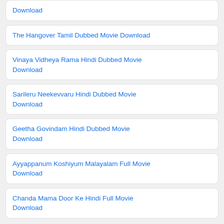Download
The Hangover Tamil Dubbed Movie Download
Vinaya Vidheya Rama Hindi Dubbed Movie Download
Sarileru Neekevvaru Hindi Dubbed Movie Download
Geetha Govindam Hindi Dubbed Movie Download
Ayyappanum Koshiyum Malayalam Full Movie Download
Chanda Mama Door Ke Hindi Full Movie Download